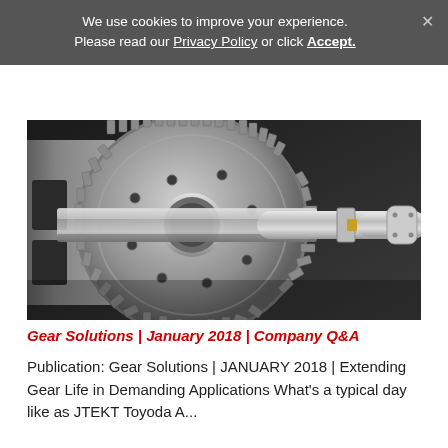We use cookies to improve your experience. Please read our Privacy Policy or click Accept.
[Figure (photo): Close-up photograph of precision metal gear assembly being machined on a lathe or CNC machine. Shows a large spur gear with a cutting tool or shaft engaged with it, all in polished steel/silver tones.]
Gear Solutions | January 2018 | Company Q&A
Publication: Gear Solutions | JANUARY 2018 | Extending Gear Life in Demanding Applications What's a typical day like as JTEKT Toyoda A...